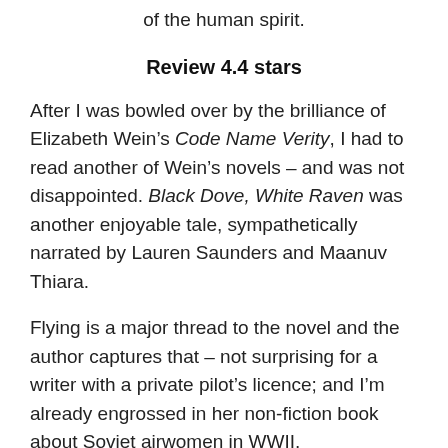of the human spirit.
Review 4.4 stars
After I was bowled over by the brilliance of Elizabeth Wein’s Code Name Verity, I had to read another of Wein’s novels – and was not disappointed. Black Dove, White Raven was another enjoyable tale, sympathetically narrated by Lauren Saunders and Maanuv Thiara.
Flying is a major thread to the novel and the author captures that – not surprising for a writer with a private pilot’s licence; and I’m already engrossed in her non-fiction book about Soviet airwomen in WWII.
However, at the heart of the story is the unfolding lives of best friends, Em and Teo brought up together after Teo’s mother Delia dies when the plane their stunt pilot mothers